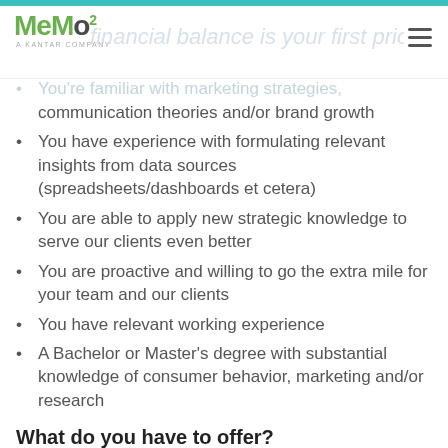MeMo² | A Kantar Company
communication theories and/or brand growth
You have experience with formulating relevant insights from data sources (spreadsheets/dashboards et cetera)
You are able to apply new strategic knowledge to serve our clients even better
You are proactive and willing to go the extra mile for your team and our clients
You have relevant working experience
A Bachelor or Master's degree with substantial knowledge of consumer behavior, marketing and/or research
What do you have to offer?